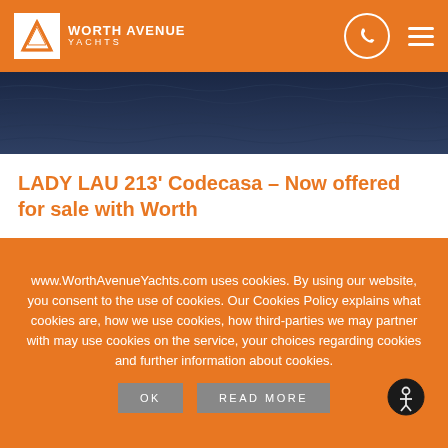Worth Avenue Yachts
[Figure (photo): Ocean water aerial view, dark blue choppy sea]
LADY LAU 213' Codecasa – Now offered for sale with Worth
[Figure (photo): Aerial view of a large white superyacht on dark blue ocean water, yacht visible in lower left corner]
www.WorthAvenueYachts.com uses cookies. By using our website, you consent to the use of cookies. Our Cookies Policy explains what cookies are, how we use cookies, how third-parties we may partner with may use cookies on the service, your choices regarding cookies and further information about cookies.